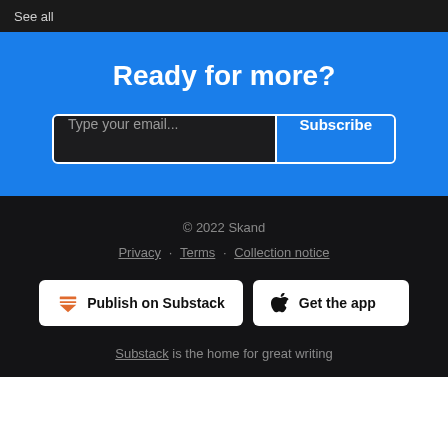See all
Ready for more?
Type your email... Subscribe
© 2022 Skand
Privacy · Terms · Collection notice
Publish on Substack
Get the app
Substack is the home for great writing